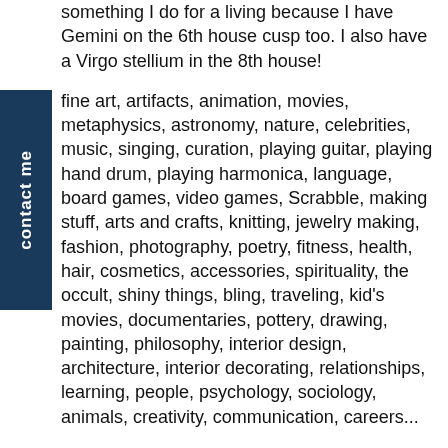something I do for a living because I have Gemini on the 6th house cusp too. I also have a Virgo stellium in the 8th house!
fine art, artifacts, animation, movies, metaphysics, astronomy, nature, celebrities, music, singing, curation, playing guitar, playing hand drum, playing harmonica, language, board games, video games, Scrabble, making stuff, arts and crafts, knitting, jewelry making, fashion, photography, poetry, fitness, health, hair, cosmetics, accessories, spirituality, the occult, shiny things, bling, traveling, kid's movies, documentaries, pottery, drawing, painting, philosophy, interior design, architecture, interior decorating, relationships, learning, people, psychology, sociology, animals, creativity, communication, careers...
To learn about this website or off-topic stuff, please view the tags Meta and Website
Exploring the wonderful world of you, and yours, through